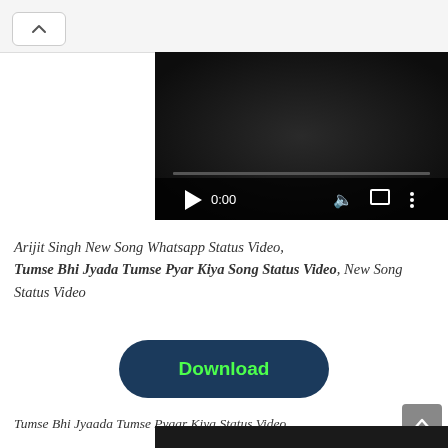[Figure (screenshot): Video player showing 0:00 timestamp with dark background, play button, volume icon, fullscreen icon, and more options icon. Progress bar at bottom.]
Arijit Singh New Song Whatsapp Status Video, Tumse Bhi Jyada Tumse Pyar Kiya Song Status Video, New Song Status Video
[Figure (other): Download button with dark navy rounded rectangle and bright green 'Download' text]
Tumse Bhi Jyaada Tumse Pyaar Kiya Status Video